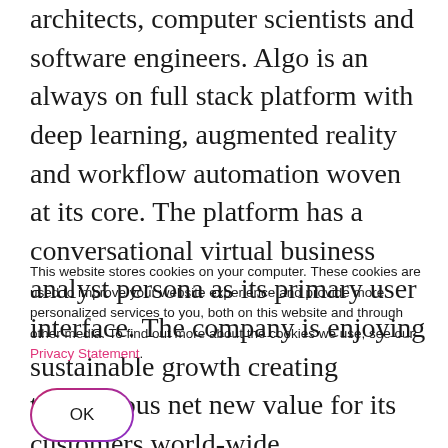architects, computer scientists and software engineers. Algo is an always on full stack platform with deep learning, augmented reality and workflow automation woven at its core. The platform has a conversational virtual business analyst persona as its primary user interface. The company is enjoying sustainable growth creating tremendous net new value for its customers world-wide.
This website stores cookies on your computer. These cookies are used to improve your website experience and provide more personalized services to you, both on this website and through other media. To find out more about the cookies we use, see our Privacy Statement.
OK